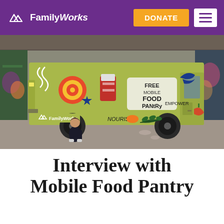FamilyWorks | DONATE
[Figure (photo): A green food truck painted with colorful illustrations including fruit, vegetables, a bird, and the text 'Free Mobile Food Pantry', 'Nourish', 'Empower', and the FamilyWorks logo. A person in dark clothing sits in front of the truck wheel in an industrial space with graffiti in the background.]
Interview with Mobile Food Pantry